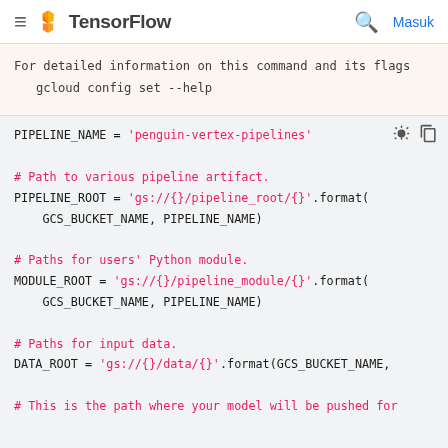TensorFlow — Masuk
For detailed information on this command and its flags
   gcloud config set --help
PIPELINE_NAME = 'penguin-vertex-pipelines'

# Path to various pipeline artifact.
PIPELINE_ROOT = 'gs://{}/pipeline_root/{}'.format(
    GCS_BUCKET_NAME, PIPELINE_NAME)

# Paths for users' Python module.
MODULE_ROOT = 'gs://{}/pipeline_module/{}'.format(
    GCS_BUCKET_NAME, PIPELINE_NAME)

# Paths for input data.
DATA_ROOT = 'gs://{}/data/{}'.format(GCS_BUCKET_NAME,

# This is the path where your model will be pushed for